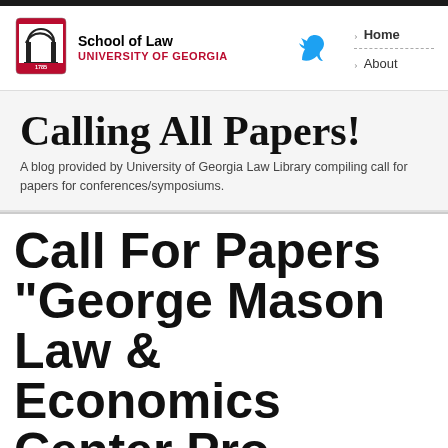[Figure (logo): University of Georgia School of Law logo with shield icon]
School of Law
UNIVERSITY OF GEORGIA
Home
About
Calling All Papers!
A blog provided by University of Georgia Law Library compiling call for papers for conferences/symposiums.
Call For Papers "George Mason Law & Economics Center Program on